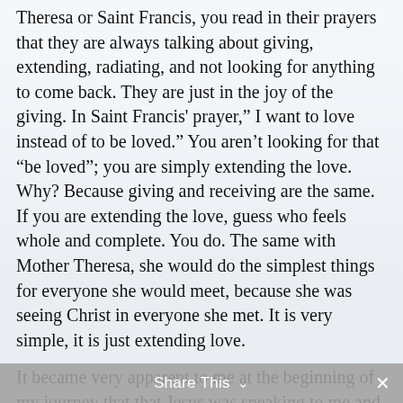Theresa or Saint Francis, you read in their prayers that they are always talking about giving, extending, radiating, and not looking for anything to come back. They are just in the joy of the giving. In Saint Francis' prayer," I want to love instead of to be loved." You aren't looking for that "be loved"; you are simply extending the love. Why? Because giving and receiving are the same. If you are extending the love, guess who feels whole and complete. You do. The same with Mother Theresa, she would do the simplest things for everyone she would meet, because she was seeing Christ in everyone she met. It is very simple, it is just extending love.
It became very apparent to me at the beginning of my journey that that Jesus was speaking to me and saying the same thing that He told the Apostles 2000 years ago. "Freely you have received, now freely give." Be very generous with miracles. Shine the light. Take time for everyone who comes into your awareness. Treat everyone with love, with care, with compassion. Because